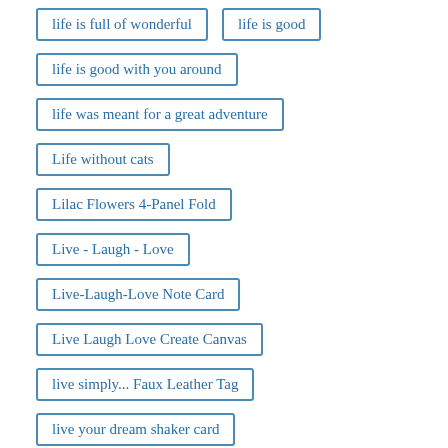life is full of wonderful
life is good
life is good with you around
life was meant for a great adventure
Life without cats
Lilac Flowers 4-Panel Fold
Live - Laugh - Love
Live-Laugh-Love Note Card
Live Laugh Love Create Canvas
live simply... Faux Leather Tag
live your dream shaker card
living my dream
Love Block Card